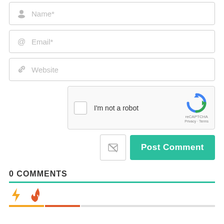[Figure (screenshot): Web comment form with Name, Email, Website fields, reCAPTCHA widget, Post Comment button, and 0 COMMENTS section with icons and colored bar]
Name*
Email*
Website
I'm not a robot
reCAPTCHA Privacy · Terms
Post Comment
0 COMMENTS